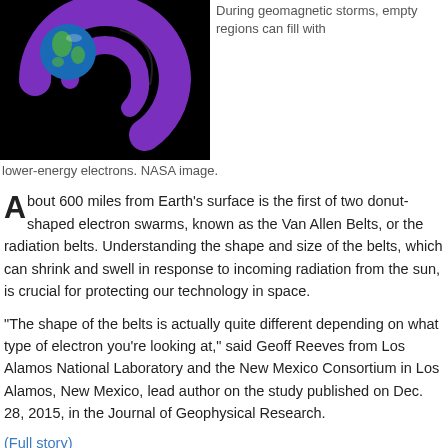[Figure (illustration): NASA image of Earth with purple donut-shaped radiation belt swirling around it on a black background.]
During geomagnetic storms, empty regions can fill with lower-energy electrons. NASA image.
About 600 miles from Earth's surface is the first of two donut-shaped electron swarms, known as the Van Allen Belts, or the radiation belts. Understanding the shape and size of the belts, which can shrink and swell in response to incoming radiation from the sun, is crucial for protecting our technology in space.
"The shape of the belts is actually quite different depending on what type of electron you're looking at," said Geoff Reeves from Los Alamos National Laboratory and the New Mexico Consortium in Los Alamos, New Mexico, lead author on the study published on Dec. 28, 2015, in the Journal of Geophysical Research.
(Full story)
Also from Space Daily